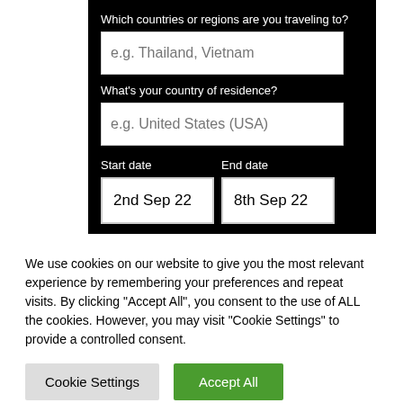[Figure (screenshot): Travel insurance form with dark background showing fields: 'Which countries or regions are you traveling to?' with placeholder 'e.g. Thailand, Vietnam', 'What's your country of residence?' with placeholder 'e.g. United States (USA)', Start date '2nd Sep 22', End date '8th Sep 22', and 'Enter Traveler's' text]
We use cookies on our website to give you the most relevant experience by remembering your preferences and repeat visits. By clicking "Accept All", you consent to the use of ALL the cookies. However, you may visit "Cookie Settings" to provide a controlled consent.
Cookie Settings
Accept All